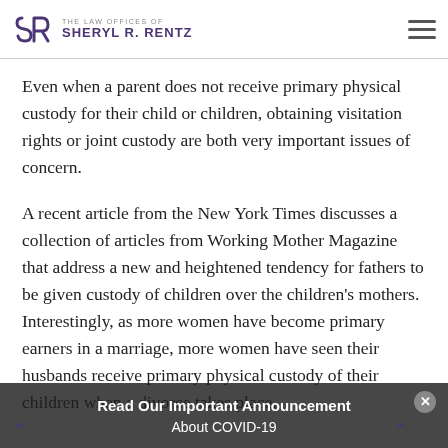THE LAW OFFICES OF SHERYL R. RENTZ
Even when a parent does not receive primary physical custody for their child or children, obtaining visitation rights or joint custody are both very important issues of concern.
A recent article from the New York Times discusses a collection of articles from Working Mother Magazine that address a new and heightened tendency for fathers to be given custody of children over the children's mothers. Interestingly, as more women have become primary earners in a marriage, more women have seen their husbands receive primary physical custody of their children when a divorce takes place.
Read Our Important Announcement About COVID-19